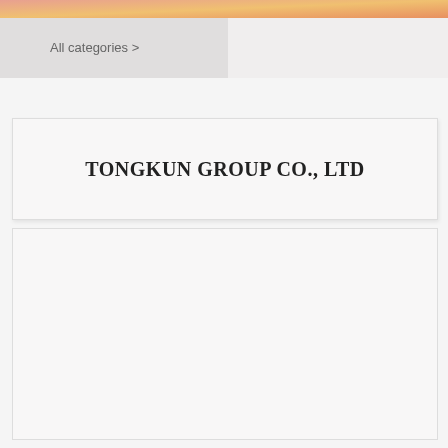All categories >
TONGKUN GROUP CO., LTD
[Figure (photo): Image placeholder area below the title card, showing a broken image icon labeled 'a1' in the lower left corner]